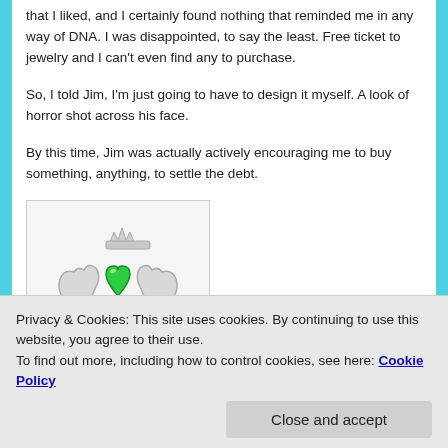that I liked, and I certainly found nothing that reminded me in any way of DNA. I was disappointed, to say the least. Free ticket to jewelry and I can't even find any to purchase.
So, I told Jim, I'm just going to have to design it myself. A look of horror shot across his face.
By this time, Jim was actually actively encouraging me to buy something, anything, to settle the debt.
[Figure (photo): A silver Claddagh ring with a green heart-shaped emerald gemstone, held by two hands with a crown on top.]
Privacy & Cookies: This site uses cookies. By continuing to use this website, you agree to their use. To find out more, including how to control cookies, see here: Cookie Policy